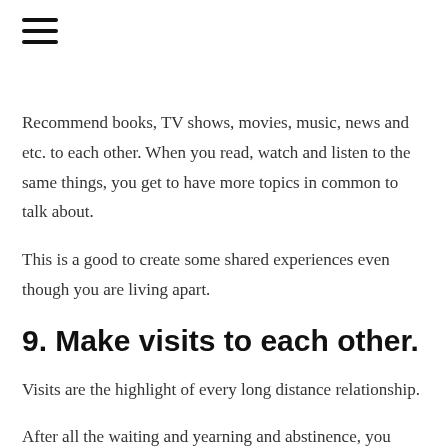[Figure (other): Hamburger menu icon (three horizontal lines)]
Recommend books, TV shows, movies, music, news and etc. to each other. When you read, watch and listen to the same things, you get to have more topics in common to talk about.
This is a good to create some shared experiences even though you are living apart.
9. Make visits to each other.
Visits are the highlight of every long distance relationship.
After all the waiting and yearning and abstinence, you finally get to meet each other to fulfill all the little things like kissing, holding hands, etc. which are all common to other couples but so very special and extra intimate for people in long distance